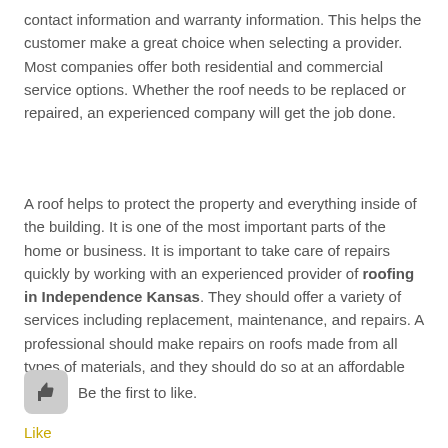contact information and warranty information. This helps the customer make a great choice when selecting a provider. Most companies offer both residential and commercial service options. Whether the roof needs to be replaced or repaired, an experienced company will get the job done.
A roof helps to protect the property and everything inside of the building. It is one of the most important parts of the home or business. It is important to take care of repairs quickly by working with an experienced provider of roofing in Independence Kansas. They should offer a variety of services including replacement, maintenance, and repairs. A professional should make repairs on roofs made from all types of materials, and they should do so at an affordable rate.
[Figure (other): Thumbs up like button icon with text 'Be the first to like.']
Like